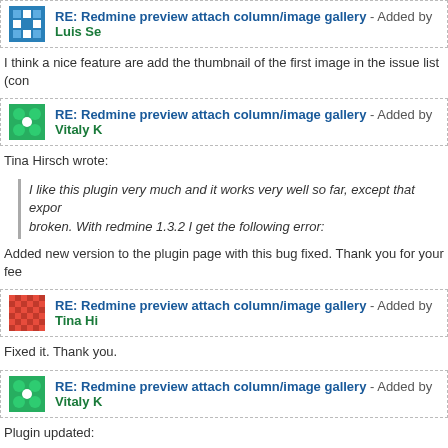[Figure (other): Blue avatar icon for comment header]
RE: Redmine preview attach column/image gallery - Added by Luis Se
I think a nice feature are add the thumbnail of the first image in the issue list (con
[Figure (other): Green avatar icon for comment header]
RE: Redmine preview attach column/image gallery - Added by Vitaly K
Tina Hirsch wrote:
I like this plugin very much and it works very well so far, except that expo broken. With redmine 1.3.2 I get the following error:
Added new version to the plugin page with this bug fixed. Thank you for your fee
[Figure (other): Red/checkered avatar icon for comment header]
RE: Redmine preview attach column/image gallery - Added by Tina Hi
Fixed it. Thank you.
[Figure (other): Green avatar icon for comment header]
RE: Redmine preview attach column/image gallery - Added by Vitaly K
Plugin updated:
Scale and animation options added
Added lightbox macro to create links for in-place preview images inside w
[Figure (other): Dots/scatter avatar icon for comment header]
RE: Redmine preview attach column/image gallery - Added by valenti
Doesn't work plugin with Redmine 2.0 and Rails 3.2.3.
Log:
Started GET "/projects/gs/issues" for 127.0.0.1 at 2012-05-24 13:15:24 +0400
Processing by IssuesController#index as HTML